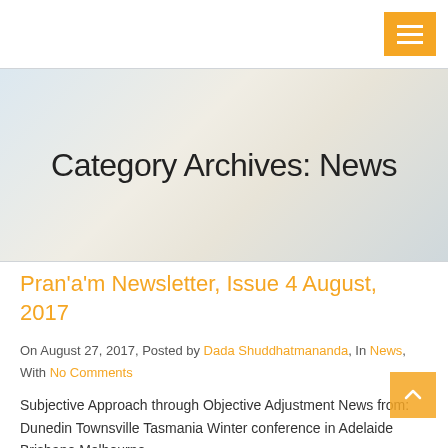Category Archives: News
Pran'a'm Newsletter, Issue 4 August, 2017
On August 27, 2017, Posted by Dada Shuddhatmananda, In News, With No Comments
Subjective Approach through Objective Adjustment News from: Dunedin Townsville Tasmania Winter conference in Adelaide Brisbane Melbourne